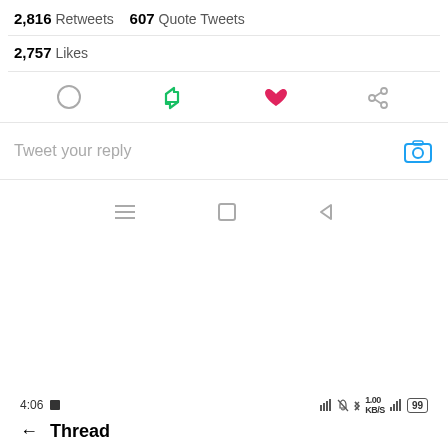2,816 Retweets  607 Quote Tweets
2,757 Likes
[Figure (screenshot): Twitter action icons: reply (circle speech bubble outline), retweet (green arrows), like (pink/magenta heart filled), share (chain link icon)]
Tweet your reply
[Figure (screenshot): Android navigation bar with hamburger/menu icon, square home icon, and back triangle icon]
4:06  [record icon]   [status icons: signal, bell, bluetooth, 1.00 KB/s, signal bars, battery 99]
← Thread